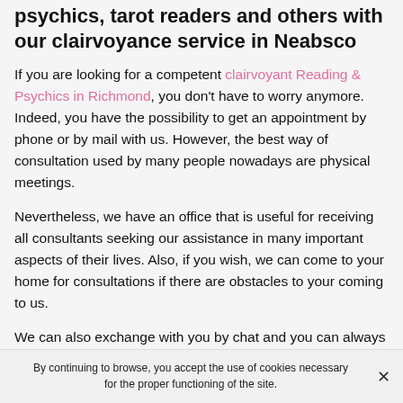psychics, tarot readers and others with our clairvoyance service in Neabsco
If you are looking for a competent clairvoyant Reading & Psychics in Richmond, you don't have to worry anymore. Indeed, you have the possibility to get an appointment by phone or by mail with us. However, the best way of consultation used by many people nowadays are physical meetings.
Nevertheless, we have an office that is useful for receiving all consultants seeking our assistance in many important aspects of their lives. Also, if you wish, we can come to your home for consultations if there are obstacles to your coming to us.
We can also exchange with you by chat and you can always benefit in this case of our services without
By continuing to browse, you accept the use of cookies necessary for the proper functioning of the site.